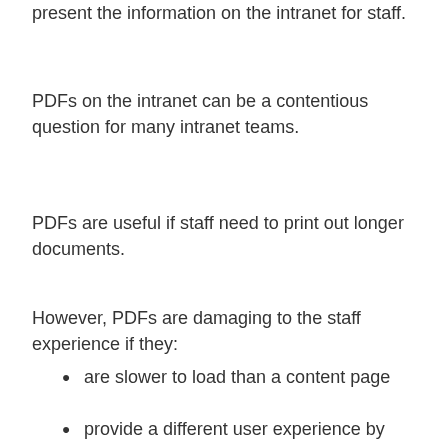present the information on the intranet for staff.
PDFs on the intranet can be a contentious question for many intranet teams.
PDFs are useful if staff need to print out longer documents.
However, PDFs are damaging to the staff experience if they:
are slower to load than a content page
provide a different user experience by losing standard